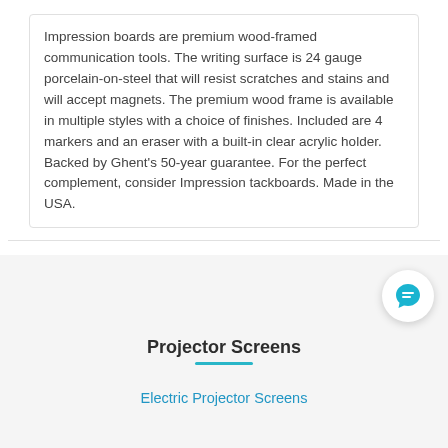Impression boards are premium wood-framed communication tools. The writing surface is 24 gauge porcelain-on-steel that will resist scratches and stains and will accept magnets. The premium wood frame is available in multiple styles with a choice of finishes. Included are 4 markers and an eraser with a built-in clear acrylic holder. Backed by Ghent's 50-year guarantee. For the perfect complement, consider Impression tackboards. Made in the USA.
[Figure (other): Chat support button icon — circular white button with a blue speech bubble icon]
Projector Screens
Electric Projector Screens